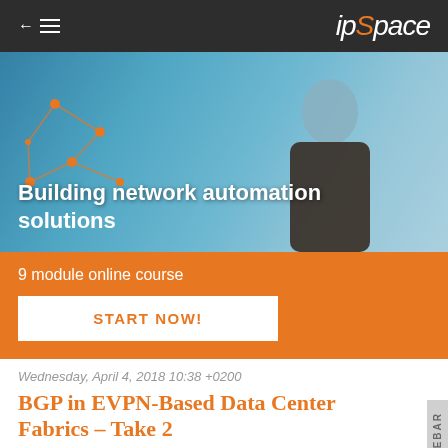ipSpace
[Figure (photo): Hero banner image showing a man looking up, with network automation graphic overlay and text 'Building network automation solutions']
9 module online course
START NOW!
Wednesday, April 4, 2018 10:38 +0200
BGP in EVPN-Based Data Center Fabrics – Take 2
My BGP in EVPN-Based Data Center Fabrics blog post